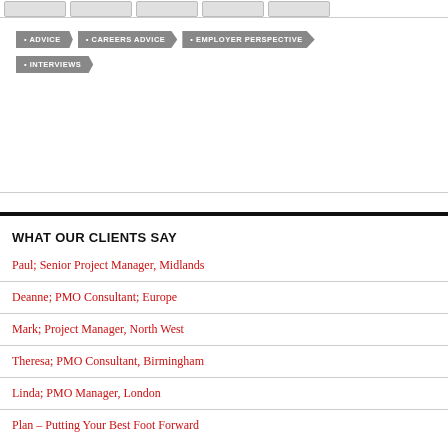[navigation buttons]
ADVICE
CAREERS ADVICE
EMPLOYER PERSPECTIVE
INTERVIEWS
WHAT OUR CLIENTS SAY
Paul; Senior Project Manager, Midlands
Deanne; PMO Consultant; Europe
Mark; Project Manager, North West
Theresa; PMO Consultant, Birmingham
Linda; PMO Manager, London
Plan – Putting Your Best Foot Forward